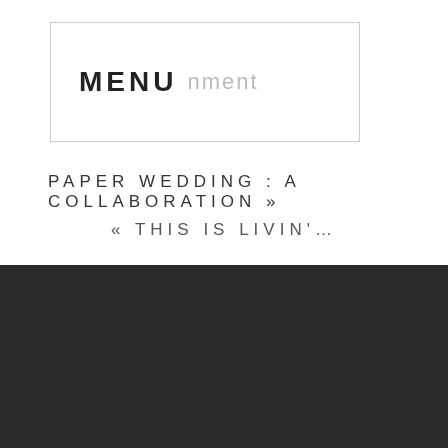MENU  nment
PAPER WEDDING : A COLLABORATION »
« THIS IS LIVIN'…